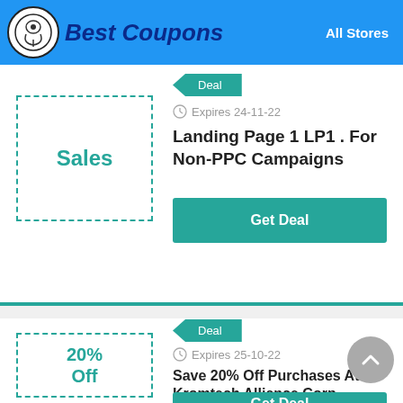Best Coupons   All Stores
Sales
Deal
Expires 24-11-22
Landing Page 1 LP1 . For Non-PPC Campaigns
Get Deal
20% Off
Deal
Expires 25-10-22
Save 20% Off Purchases At Kromtech Alliance Corp
Get Deal